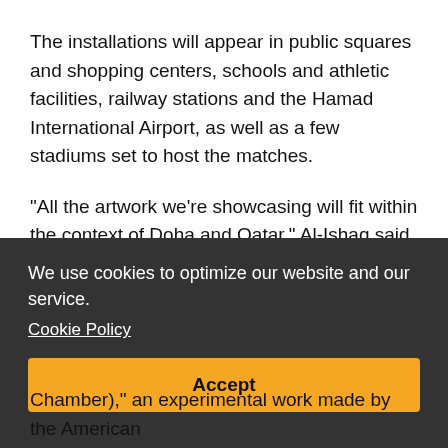The installations will appear in public squares and shopping centers, schools and athletic facilities, railway stations and the Hamad International Airport, as well as a few stadiums set to host the matches.
"All the artwork we're showcasing will fit within the context of Doha and Qatar," Al-Ishaq said. "It will be placed strategically or territorially to reflect something about our country."
An example is Dutch sculptor Tom Claassen's "Falcon"
We use cookies to optimize our website and our service.
Cookie Policy
Accept
Chamber)," an experimental work made by the American